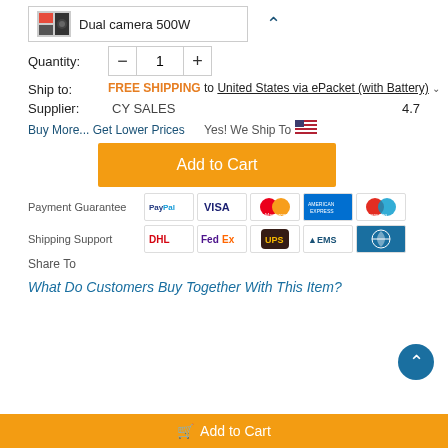Dual camera 500W
Quantity: 1
Ship to: FREE SHIPPING to United States via ePacket (with Battery)
Supplier: CY SALES 4.7
Buy More... Get Lower Prices   Yes! We Ship To
Add to Cart
Payment Guarantee
[Figure (infographic): PayPal, VISA, MasterCard, American Express, Maestro payment icons]
Shipping Support
[Figure (infographic): DHL, FedEx, UPS, EMS, other shipping carrier icons]
Share To
What Do Customers Buy Together With This Item?
Add to Cart